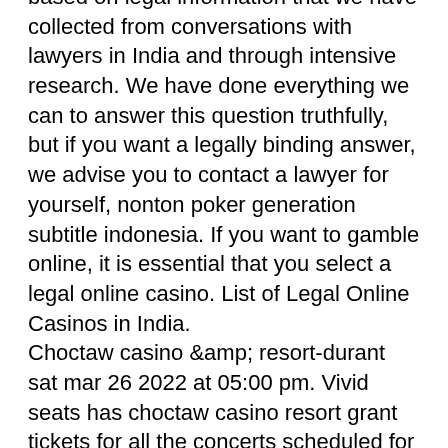based on legal information that we have collected from conversations with lawyers in India and through intensive research. We have done everything we can to answer this question truthfully, but if you want a legally binding answer, we advise you to contact a lawyer for yourself, nonton poker generation subtitle indonesia. If you want to gamble online, it is essential that you select a legal online casino. List of Legal Online Casinos in India.
Choctaw casino &amp; resort-durant sat mar 26 2022 at 05:00 pm. Vivid seats has choctaw casino resort grant tickets for all the concerts scheduled for 2022 and 2023. Choctaw casino resort - grant offers gaming, dining, live entertainment and more – all in one convenient southeastern oklahoma location. Casinos and travel plaza gaming locations, resorts and concert venues. Free multi line slot games online. Looking for